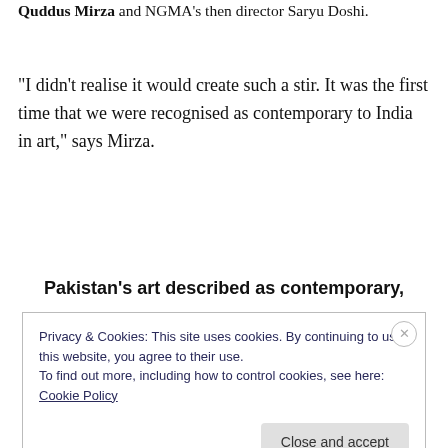Quddus Mirza and NGMA's then director Saryu Doshi.
“I didn’t realise it would create such a stir. It was the first time that we were recognised as contemporary to India in art,” says Mirza.
Pakistan’s art described as contemporary,
Privacy & Cookies: This site uses cookies. By continuing to use this website, you agree to their use.
To find out more, including how to control cookies, see here: Cookie Policy
Close and accept